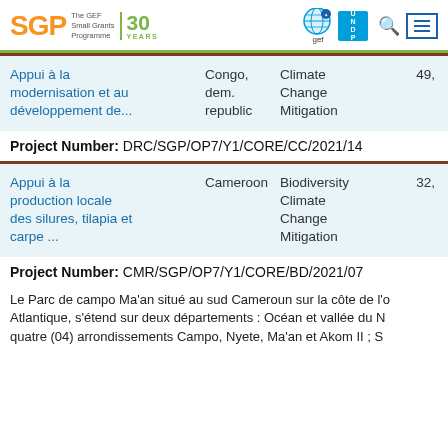SGP The GEF Small Grants Programme | 30 YEARS — GEF / UNDP logo — search and menu
| Title | Country | Focal Area | Amount |
| --- | --- | --- | --- |
| Appui à la modernisation et au développement de... | Congo, dem. republic | Climate Change Mitigation | 49,… |
| Appui à la production locale des silures, tilapia et carpe ... | Cameroon | Biodiversity Climate Change Mitigation | 32,… |
Project Number:  DRC/SGP/OP7/Y1/CORE/CC/2021/14
Project Number:  CMR/SGP/OP7/Y1/CORE/BD/2021/07
Le Parc de campo Ma'an situé au sud Cameroun sur la côte de l'o Atlantique, s'étend sur deux départements : Océan et vallée du N quatre (04) arrondissements Campo, Nyete, Ma'an et Akom II ; S